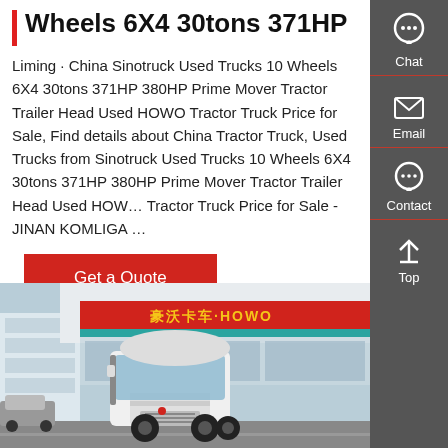Wheels 6X4 30tons 371HP
Liming · China Sinotruck Used Trucks 10 Wheels 6X4 30tons 371HP 380HP Prime Mover Tractor Trailer Head Used HOWO Tractor Truck Price for Sale, Find details about China Tractor Truck, Used Trucks from Sinotruck Used Trucks 10 Wheels 6X4 30tons 371HP 380HP Prime Mover Tractor Trailer Head Used HOWO Tractor Truck Price for Sale - JINAN KOMLIGA ...
[Figure (other): Red 'Get a Quote' button]
[Figure (photo): Photo of a white HOWO tractor truck parked in front of a HOWO dealership building with red and teal signage reading 豪沃卡车·HOWO]
[Figure (infographic): Sidebar with Chat, Email, Contact, and Top navigation icons on dark grey background]